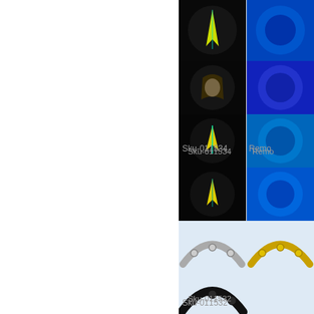[Figure (photo): Partial product catalog page showing musical instrument accessories (tambourines/percussion) with product SKU codes and brand names. Rows visible include Sku-011534 (Remo), Sku-011532, Sku-011531, and Sku-011381 (EMD/STAGG). Right side shows product thumbnail images.]
Sku-011534
Remo
Sku-011532
Sku-011531
Sku-011381
EMD/STAGG